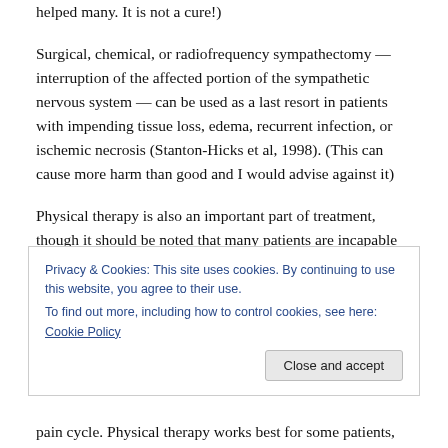helped many. It is not a cure!)
Surgical, chemical, or radiofrequency sympathectomy — interruption of the affected portion of the sympathetic nervous system — can be used as a last resort in patients with impending tissue loss, edema, recurrent infection, or ischemic necrosis (Stanton-Hicks et al, 1998). (This can cause more harm than good and I would advise against it)
Physical therapy is also an important part of treatment, though it should be noted that many patients are incapable of participating in physical therapy due to subsequent
[Figure (screenshot): Cookie consent banner overlay with text: 'Privacy & Cookies: This site uses cookies. By continuing to use this website, you agree to their use. To find out more, including how to control cookies, see here: Cookie Policy' and a 'Close and accept' button.]
pain cycle. Physical therapy works best for some patients,